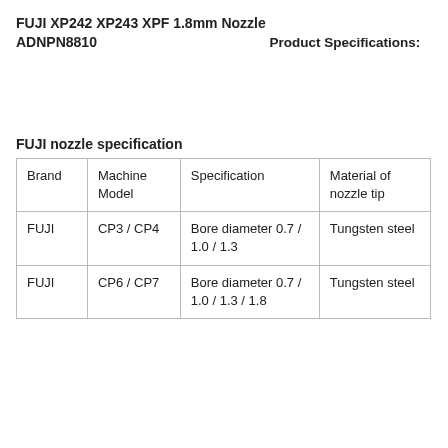FUJI XP242 XP243 XPF 1.8mm Nozzle ADNPN8810
Product Specifications:
FUJI nozzle specification
| Brand | Machine Model | Specification | Material of nozzle tip |
| --- | --- | --- | --- |
| FUJI | CP3 / CP4 | Bore diameter 0.7 / 1.0 / 1.3 | Tungsten steel |
| FUJI | CP6 / CP7 | Bore diameter 0.7 / 1.0 / 1.3 / 1.8 | Tungsten steel |